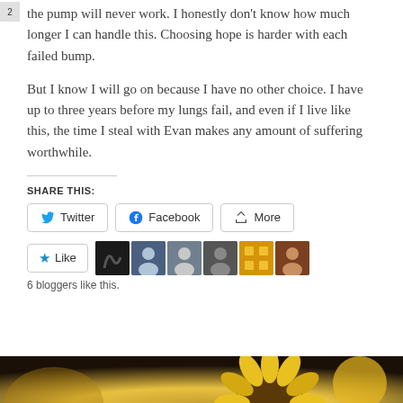the pump will never work. I honestly don't know how much longer I can handle this. Choosing hope is harder with each failed bump.
But I know I will go on because I have no other choice. I have up to three years before my lungs fail, and even if I live like this, the time I steal with Evan makes any amount of suffering worthwhile.
SHARE THIS:
[Figure (screenshot): Social share buttons: Twitter, Facebook, More]
[Figure (screenshot): Like button with star icon and 6 blogger avatars]
6 bloggers like this.
[Figure (photo): Sunflower image at bottom of page]